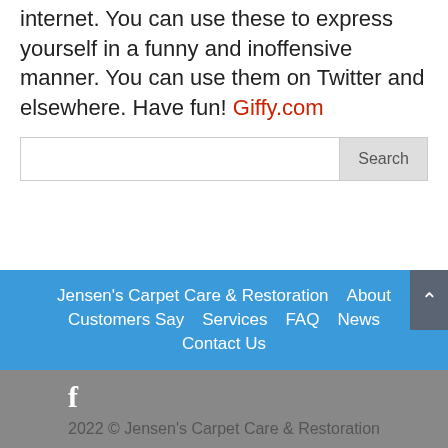internet. You can use these to express yourself in a funny and inoffensive manner. You can use them on Twitter and elsewhere. Have fun! Giffy.com
[Figure (other): Search input box with Search button]
Jensen's Carpet Care & Restoration   About   Customers Say   Services   FAQ   News   Contact Us
f
2022 © Jensen's Carpet Care & Restoration